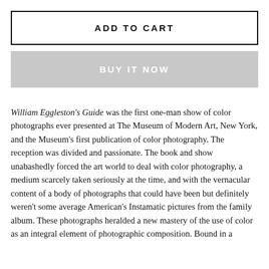ADD TO CART
BUY IT NOW
William Eggleston's Guide was the first one-man show of color photographs ever presented at The Museum of Modern Art, New York, and the Museum's first publication of color photography. The reception was divided and passionate. The book and show unabashedly forced the art world to deal with color photography, a medium scarcely taken seriously at the time, and with the vernacular content of a body of photographs that could have been but definitely weren't some average American's Instamatic pictures from the family album. These photographs heralded a new mastery of the use of color as an integral element of photographic composition. Bound in a